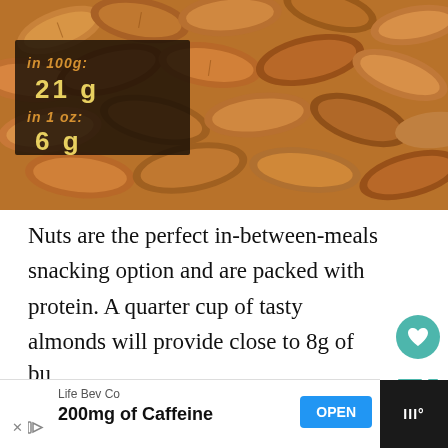[Figure (photo): Close-up photograph of almonds with a dark overlay box showing nutritional info: 'in 100g: 21g' and 'in 1 oz: 6g' in orange/yellow text]
Nuts are the perfect in-between-meals snacking option and are packed with protein. A quarter cup of tasty almonds will provide close to 8g of protein, while around the sam measure of peanuts will give you 9g. Peanu
[Figure (infographic): Teal heart icon button and share icon button on the right side]
bu
Life Bev Co
200mg of Caffeine
OPEN